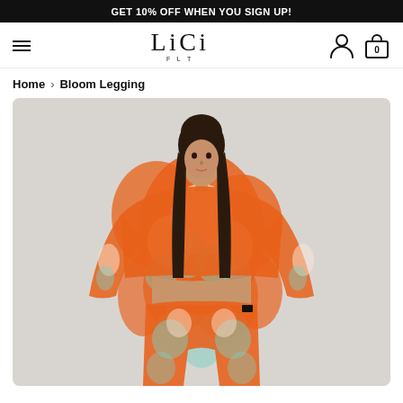GET 10% OFF WHEN YOU SIGN UP!
[Figure (logo): LICI FLT brand logo in serif font]
Home > Bloom Legging
[Figure (photo): Model wearing orange/mint tie-dye crop top and matching leggings set, photographed against a light gray background]